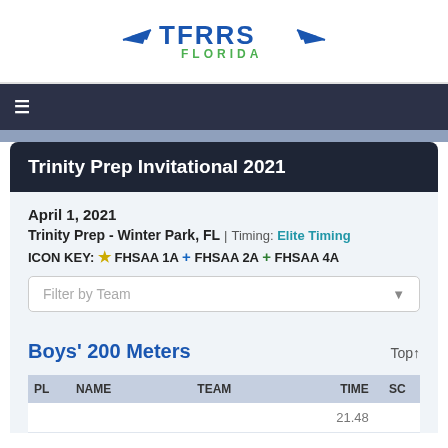[Figure (logo): TFRRS Florida logo with wing graphics]
≡
Trinity Prep Invitational 2021
April 1, 2021
Trinity Prep - Winter Park, FL | Timing: Elite Timing
ICON KEY: ★ FHSAA 1A + FHSAA 2A + FHSAA 4A
Boys' 200 Meters
| PL | NAME | TEAM | TIME | SC |
| --- | --- | --- | --- | --- |
|  |  |  | 21.48 |  |